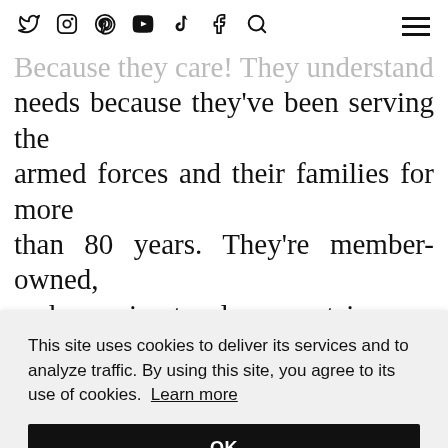Social icons: Twitter, Instagram, Pinterest, YouTube, TikTok, Facebook, Search | Hamburger menu
Because they care! They understand your needs because they've been serving the armed forces and their families for more than 80 years. They're member-owned, and promise to always act in your best interest. Switch your accounts to Navy F[obscured by cookie banner] the [obscured] day
This site uses cookies to deliver its services and to analyze traffic. By using this site, you agree to its use of cookies. Learn more
OK
visit sponsor's site